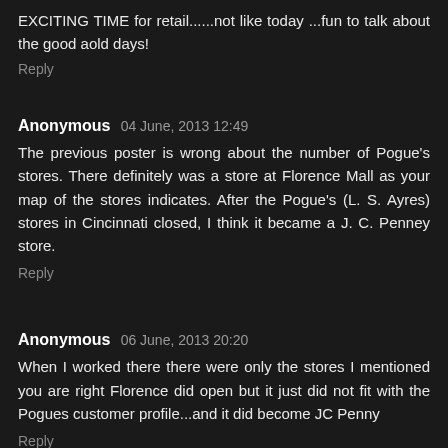EXCITING TIME for retail......not like today ...fun to talk about the good aold days!
Reply
Anonymous 04 June, 2013 12:49
The previous poster is wrong about the number of Pogue's stores. There definitely was a store at Florence Mall as your map of the stores indicates. After the Pogue's (L. S. Ayres) stores in Cincinnati closed, I think it became a J. C. Penney store.
Reply
Anonymous 06 June, 2013 20:20
When I worked there there were only the stores I mentioned you are right Florence did open but it just did not fit with the Pogues customer profile...and it did become JC Penny
Reply